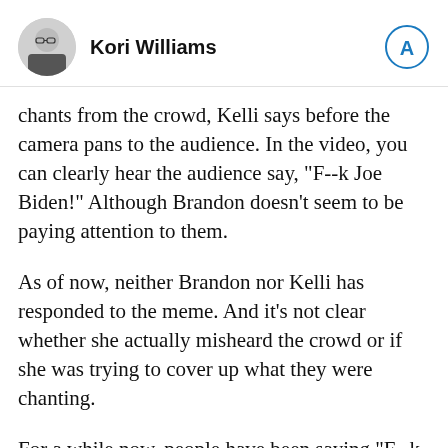Kori Williams
chants from the crowd, Kelli says before the camera pans to the audience. In the video, you can clearly hear the audience say, "F--k Joe Biden!" Although Brandon doesn't seem to be paying attention to them.
As of now, neither Brandon nor Kelli has responded to the meme. And it's not clear whether she actually misheard the crowd or if she was trying to cover up what they were chanting.
For a while now, people have been saying "F--k Joe Biden" as a form of protest against the 46th president of the U.S. Know Your Meme says this